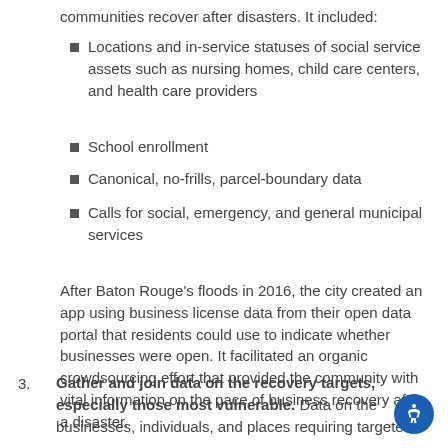communities recover after disasters. It included:
Locations and in-service statuses of social service assets such as nursing homes, child care centers, and health care providers
School enrollment
Canonical, no-frills, parcel-boundary data
Calls for social, emergency, and general municipal services
After Baton Rouge's floods in 2016, the city created an app using business license data from their open data portal that residents could use to indicate whether businesses were open. It facilitated an organic crowdsourcing effort that provided the community with vital information on the pace of business recovery after a disaster.
3. Gather and join data on the recovery targets, especially those most vulnerable. Data on the businesses, individuals, and places requiring targeted